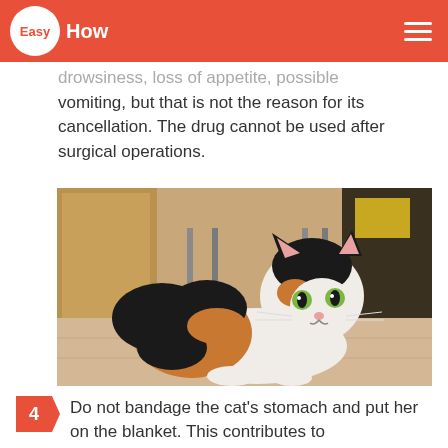EasyHow
drowsiness, loss of appetite, possible vomiting, but that is not the reason for its cancellation. The drug cannot be used after surgical operations.
[Figure (photo): A calico cat lying on a light wood floor, facing the camera, with black, white and orange markings. Metal chair legs and a wooden cabinet visible in the background.]
Do not bandage the cat's stomach and put her on the blanket. This contributes to reduction of heat loss. Put her on a warm, soft bedding.